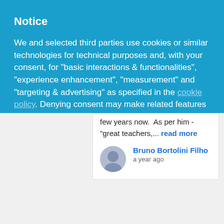Notice
We and selected third parties use cookies or similar technologies for technical purposes and, with your consent, for “basic interactions & functionalities”, “experience enhancement”, “measurement” and “targeting & advertising” as specified in the cookie policy. Denying consent may make related features unavailable.
You can freely give, deny, or withdraw your consent at any time.
Reject
Accept
Learn more and customize
few years now.  As per him - “great teachers,... read more
Bruno Bortolini Filho
a year ago